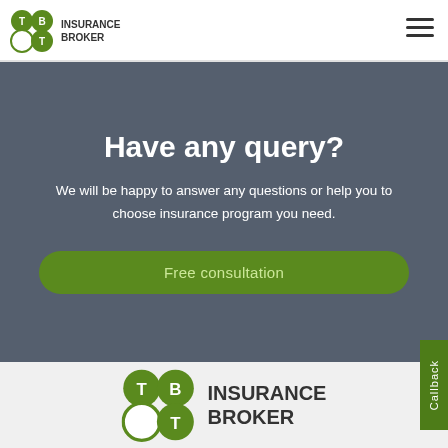[Figure (logo): TBT Insurance Broker logo with green four-leaf clover icon and text in header]
[Figure (other): Hamburger menu icon (three horizontal lines) in top right corner]
Have any query?
We will be happy to answer any questions or help you to choose insurance program you need.
Free consultation
Callback
[Figure (logo): TBT Insurance Broker large logo with green four-leaf clover icon in footer area]